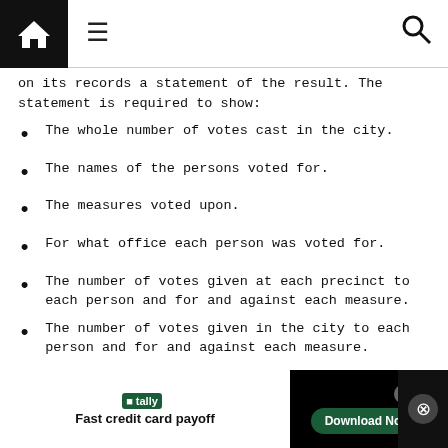Navigation bar with home, menu, and search icons
on its records a statement of the result. The statement is required to show:
The whole number of votes cast in the city.
The names of the persons voted for.
The measures voted upon.
For what office each person was voted for.
The number of votes given at each precinct to each person and for and against each measure.
The number of votes given in the city to each person and for and against each measure.
Section 10265 requires the elections official to immediately
Tally – Fast credit card payoff. Download Now.